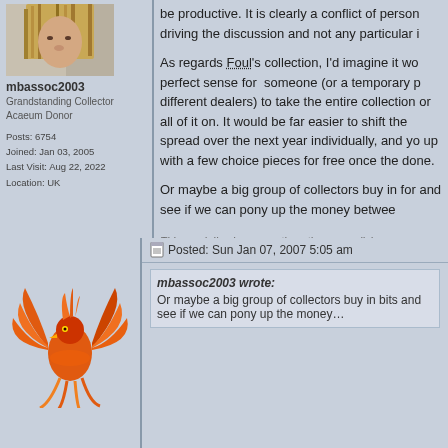[Figure (photo): Avatar photo of user mbassoc2003 showing a person with blonde hair]
mbassoc2003
Grandstanding Collector
Acaeum Donor
Posts: 6754
Joined: Jan 03, 2005
Last Visit: Aug 22, 2022
Location: UK
be productive. It is clearly a conflict of person driving the discussion and not any particular i…
As regards Foul's collection, I'd imagine it wo perfect sense for someone (or a temporary p different dealers) to take the entire collection or all of it on. It would be far easier to shift the spread over the next year individually, and yo up with a few choice pieces for free once the done.
Or maybe a big group of collectors buy in for and see if we can pony up the money betwee
This week I've been mostly eating . . . radishes.
[Figure (illustration): WWW button/icon with globe and cursor]
Posted: Sun Jan 07, 2007 5:05 am
[Figure (illustration): Phoenix bird illustration in orange and red colors]
mbassoc2003 wrote:
Or maybe a big group of collectors buy in bits and see if we can pony up the money…